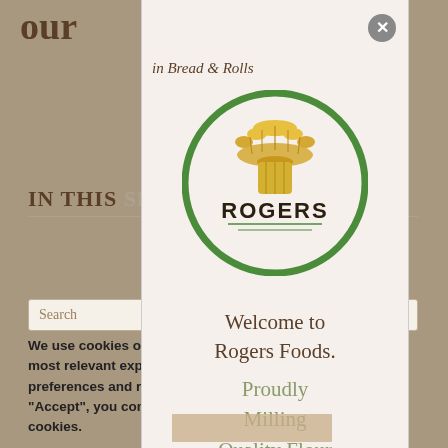our
in Bread & Rolls
[Figure (logo): Rogers Foods circular logo with green border, wheat sheaf illustration and ROGERS text]
IN THIS SECTION
Search
We use cookies on our website to give you the most relevant experience by remembering your preferences and repeat visits. By clicking "Accept", you consent to the use of ALL the cookies.
Cookie settings
Welcome to Rogers Foods.
Proudly Milling Quality Flour And Cereal Products From